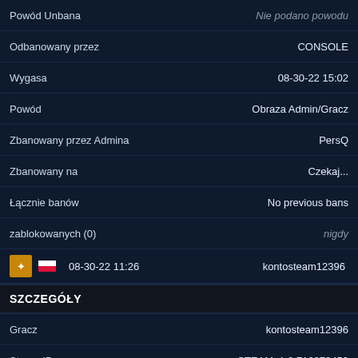| Field | Value |
| --- | --- |
| Powód Unbana | Nie podano powodu |
| Odbanowany przez | CONSOLE |
| Wygasa | 08-30-22 15:02 |
| Powód | Obraza Admin/Gracz |
| Zbanowany przez Admina | PersQ |
| Zbanowany na | Czekaj... |
| Łącznie banów | No previous bans |
| zablokowanych (0) | nigdy |
| [icon+flag] 08-30-22 11:26 | kontosteam12396 |
SZCZEGÓŁY
| Field | Value |
| --- | --- |
| Gracz | kontosteam12396 |
| Steam ID | STEAM_1:0:710072459 |
| Steam3 ID | [U:1:1420144918] |
| Steam Community | 76561199380410646 |
| IP | [PL flag] 80.49.254.87 |
| Invoked on | 08-30-22 11:26 |
| Banlength | 30 min (Expired) |
| Powód Unbana | Nie podano powodu |